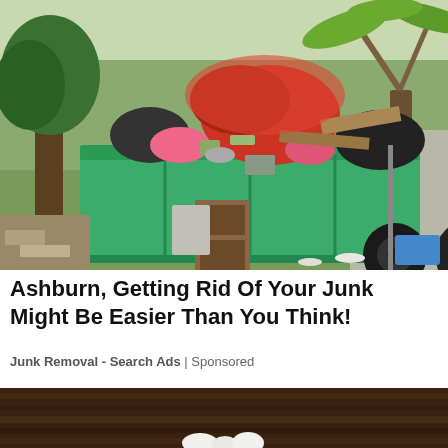[Figure (photo): A large green dumpster overflowing with junk, debris, furniture pieces, bags, and miscellaneous waste, outdoors on grass near trees including a palm tree. A tire sits on the ground nearby.]
Ashburn, Getting Rid Of Your Junk Might Be Easier Than You Think!
Junk Removal - Search Ads | Sponsored
[Figure (photo): Bottom portion of a second advertisement image showing what appears to be a rustic wooden surface with some white objects, partially visible.]